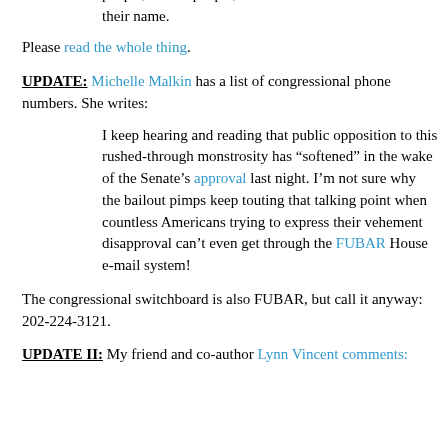them, and that in a government "of the people, by the people, for the people," this crime is to be carried out in their name.
Please read the whole thing.
UPDATE: Michelle Malkin has a list of congressional phone numbers. She writes:
I keep hearing and reading that public opposition to this rushed-through monstrosity has “softened” in the wake of the Senate’s approval last night. I’m not sure why the bailout pimps keep touting that talking point when countless Americans trying to express their vehement disapproval can’t even get through the FUBAR House e-mail system!
The congressional switchboard is also FUBAR, but call it anyway: 202-224-3121.
UPDATE II: My friend and co-author Lynn Vincent comments: